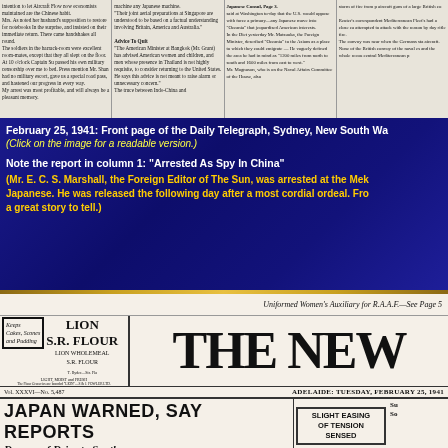[Figure (screenshot): Scanned newspaper clipping showing multiple columns of dense text from what appears to be a 1941 newspaper, partially readable]
February 25, 1941: Front page of the Daily Telegraph, Sydney, New South Wa
(Click on the image for a readable version.)
Note the report in column 1: "Arrested As Spy In China"
(Mr. E. C. S. Marshall, the Foreign Editor of The Sun, was arrested at the Mek Japanese. He was released the following day after a most cordial ordeal. Fro a great story to tell.)
[Figure (screenshot): Front page of The News, Adelaide, Tuesday February 25, 1941 showing masthead, Lion S.R. Flour advertisement, and headlines including JAPAN WARNED, SAY REPORTS and Danger of Drive to South Pointed Out]
Uniformed Women's Auxiliary for R.A.A.F.—See Page 5
Vol. XXXVI—No. 5,487
ADELAIDE: TUESDAY, FEBRUARY 25, 1941
JAPAN WARNED, SAY REPORTS
Danger of Drive to South Pointed Out
SLIGHT EASING OF TENSION SENSED